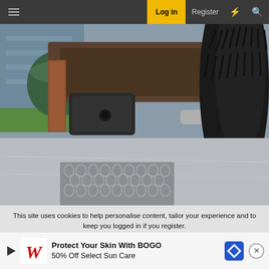Log in  Register
[Figure (photo): Close-up photo taken from below a vehicle, showing the undercarriage with a trailer hitch receiver, rusty metal frame, a vehicle tire with heavy tread, and a concrete driveway with a patterned mat visible in the foreground. A house and green grass are visible in the blurred background.]
This site uses cookies to help personalise content, tailor your experience and to keep you logged in if you register.
By continuing to use this site, you are consenting to our use of cookies.
Protect Your Skin With BOGO 50% Off Select Sun Care